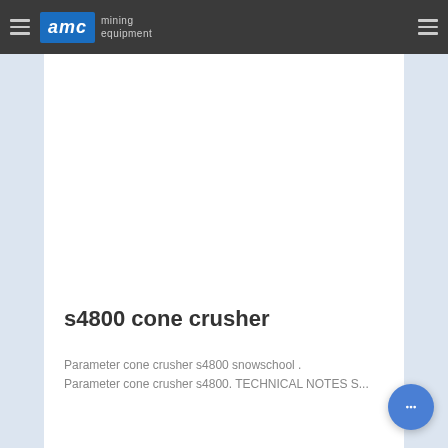AMC mining equipment
[Figure (photo): White blank image area (product image placeholder) for s4800 cone crusher]
s4800 cone crusher
Parameter cone crusher s4800 snowschool . Parameter cone crusher s4800. TECHNICAL NOTES S...